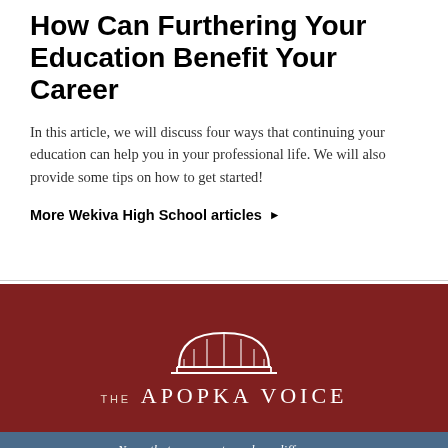How Can Furthering Your Education Benefit Your Career
In this article, we will discuss four ways that continuing your education can help you in your professional life. We will also provide some tips on how to get started!
More Wekiva High School articles ▶
[Figure (logo): The Apopka Voice logo — white bridge/arch graphic over dark red background with text 'THE APOPKA VOICE' and blue bar reading 'News that engages to make a difference']